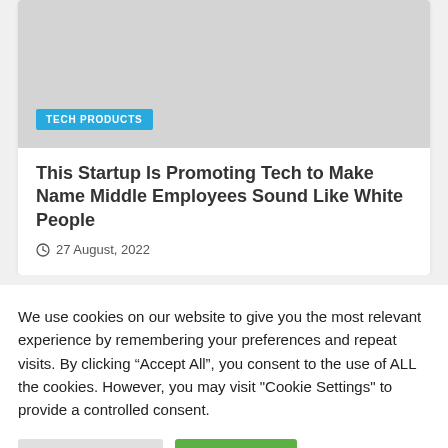[Figure (photo): Gray placeholder image for article thumbnail with a 'Tech Products' category badge overlay]
This Startup Is Promoting Tech to Make Name Middle Employees Sound Like White People
27 August, 2022
We use cookies on our website to give you the most relevant experience by remembering your preferences and repeat visits. By clicking “Accept All”, you consent to the use of ALL the cookies. However, you may visit "Cookie Settings" to provide a controlled consent.